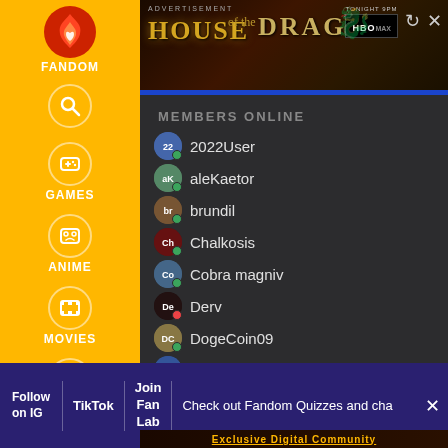[Figure (screenshot): Fandom website left sidebar with navigation icons for Games, Anime, Movies, TV, Video]
[Figure (screenshot): House of the Dragon advertisement banner with HBO Max branding]
MEMBERS ONLINE
2022User
aleKaetor
brundil
Chalkosis
Cobra magniv
Derv
DogeCoin09
Dyno
EnderLord80000000
Hangout with people who get it
Follow on IG | TikTok | Join Fan Lab | Check out Fandom Quizzes and cha
Exclusive Digital Community